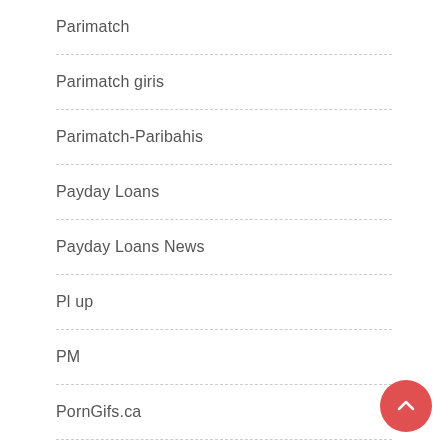Parimatch
Parimatch giris
Parimatch-Paribahis
Payday Loans
Payday Loans News
Pl up
PM
PornGifs.ca
Pribahis
slots